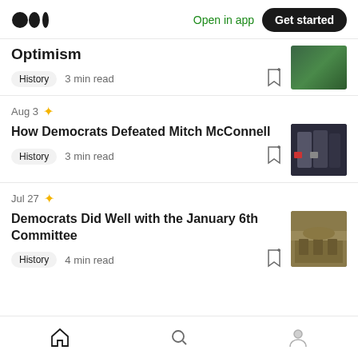[Figure (logo): Medium logo - two circles]
Open in app
Get started
Optimism
History  3 min read
Aug 3
How Democrats Defeated Mitch McConnell
History  3 min read
Jul 27
Democrats Did Well with the January 6th Committee
History  4 min read